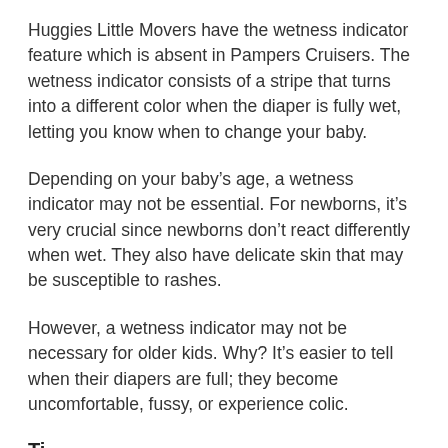Huggies Little Movers have the wetness indicator feature which is absent in Pampers Cruisers. The wetness indicator consists of a stripe that turns into a different color when the diaper is fully wet, letting you know when to change your baby.
Depending on your baby’s age, a wetness indicator may not be essential. For newborns, it’s very crucial since newborns don’t react differently when wet. They also have delicate skin that may be susceptible to rashes.
However, a wetness indicator may not be necessary for older kids. Why? It’s easier to tell when their diapers are full; they become uncomfortable, fussy, or experience colic.
Ti...